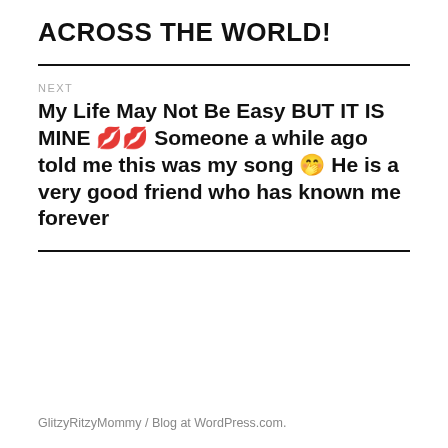ACROSS THE WORLD!
NEXT
My Life May Not Be Easy BUT IT IS MINE 💋💋 Someone a while ago told me this was my song 🤭 He is a very good friend who has known me forever
GlitzyRitzyMommy  /  Blog at WordPress.com.